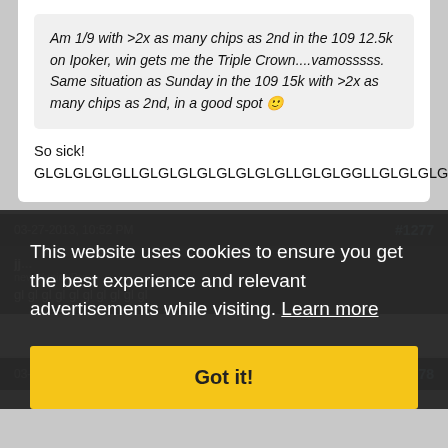Am 1/9 with >2x as many chips as 2nd in the 109 12.5k on Ipoker, win gets me the Triple Crown....vamosssss. Same situation as Sunday in the 109 15k with >2x as many chips as 2nd, in a good spot 🙂
So sick!
GLGLGLGLGLLGLGLGLGLGLGLGLGLLGLGLGGLLGLGLGLGLGL!
03-27-2013, 10:52 PM   #1277
jj[...]
new YugiohPro
gl gl gl gl gl gl gl gl gl gl
This website uses cookies to ensure you get the best experience and relevant advertisements while visiting. Learn more
Got it!
03-28-2013, 12:22 AM   #1278